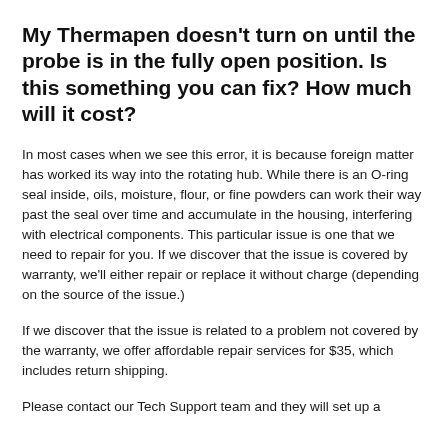My Thermapen doesn't turn on until the probe is in the fully open position. Is this something you can fix? How much will it cost?
In most cases when we see this error, it is because foreign matter has worked its way into the rotating hub. While there is an O-ring seal inside, oils, moisture, flour, or fine powders can work their way past the seal over time and accumulate in the housing, interfering with electrical components. This particular issue is one that we need to repair for you. If we discover that the issue is covered by warranty, we'll either repair or replace it without charge (depending on the source of the issue.)
If we discover that the issue is related to a problem not covered by the warranty, we offer affordable repair services for $35, which includes return shipping.
Please contact our Tech Support team and they will set up a